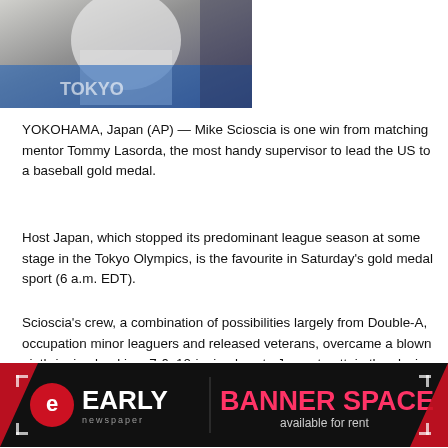[Figure (photo): Photo of a person at the Tokyo Olympics, partial view showing someone in white shirt with Tokyo Olympics branding in background]
YOKOHAMA, Japan (AP) — Mike Scioscia is one win from matching mentor Tommy Lasorda, the most handy supervisor to lead the US to a baseball gold medal.
Host Japan, which stopped its predominant league season at some stage in the Tokyo Olympics, is the favourite in Saturday's gold medal sport (6 a.m. EDT).
[Figure (logo): Early Newspaper logo and Banner Space available for rent advertisement banner]
Scioscia's crew, a combination of possibilities largely from Double-A, occupation minor leaguers and released veterans, overcame a blown ninth-inning lead in a 7-6, 10-inning loss to Japan to attain the closing by beating the Dominican Republic 3-1 and South Korea 7-2.